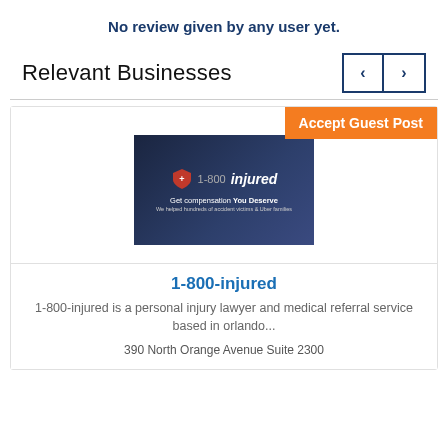No review given by any user yet.
Relevant Businesses
[Figure (other): Navigation buttons with left and right chevron arrows, bordered in dark blue]
[Figure (other): Orange banner reading 'Accept Guest Post']
[Figure (photo): 1-800-injured advertisement card showing a dark blue background with a red shield logo and italic 'injured' text, tagline 'Get compensation You Deserve', and subtext 'We helped hundreds of accident victims & Uber families']
1-800-injured
1-800-injured is a personal injury lawyer and medical referral service based in orlando...
390 North Orange Avenue Suite 2300